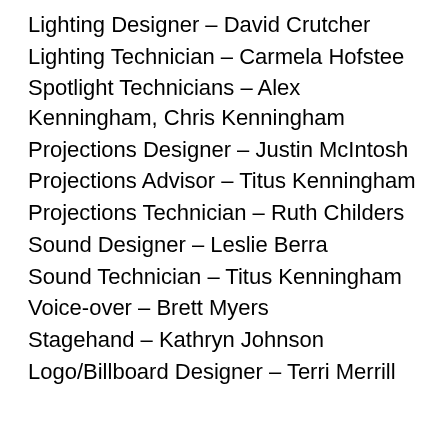Lighting Designer – David Crutcher
Lighting Technician – Carmela Hofstee
Spotlight Technicians – Alex Kenningham, Chris Kenningham
Projections Designer – Justin McIntosh
Projections Advisor – Titus Kenningham
Projections Technician – Ruth Childers
Sound Designer – Leslie Berra
Sound Technician – Titus Kenningham
Voice-over – Brett Myers
Stagehand – Kathryn Johnson
Logo/Billboard Designer – Terri Merrill